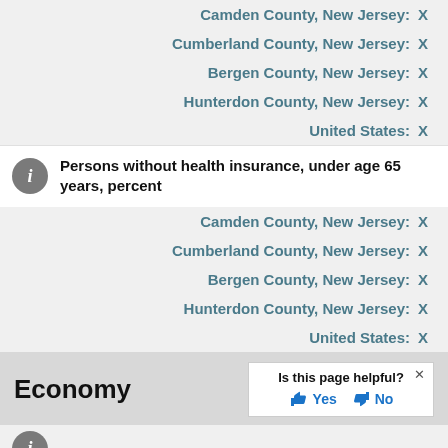Camden County, New Jersey: X
Cumberland County, New Jersey: X
Bergen County, New Jersey: X
Hunterdon County, New Jersey: X
United States: X
Persons without health insurance, under age 65 years, percent
Camden County, New Jersey: X
Cumberland County, New Jersey: X
Bergen County, New Jersey: X
Hunterdon County, New Jersey: X
United States: X
Economy
Is this page helpful? Yes No